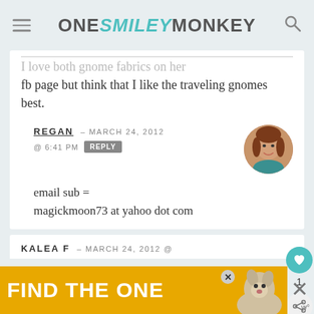ONE SMILEY MONKEY
I love both gnome fabrics on her fb page but think that I like the traveling gnomes best.
REGAN – MARCH 24, 2012 @ 6:41 PM  REPLY
email sub =
magickmoon73 at yahoo dot com
KALEA F – MARCH 24, 2012 @
[Figure (other): Advertisement banner: FIND THE ONE with dog photo]
[Figure (other): Circular avatar photo of a woman with red-brown hair]